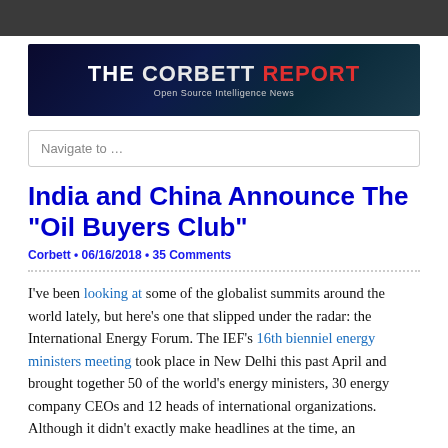[Figure (logo): The Corbett Report banner — dark blue/teal background with globe, white 'THE', white 'CORBETT', red 'REPORT', subtitle 'Open Source Intelligence News']
Navigate to …
India and China Announce The "Oil Buyers Club"
Corbett • 06/16/2018 • 35 Comments
I've been looking at some of the globalist summits around the world lately, but here's one that slipped under the radar: the International Energy Forum. The IEF's 16th bienniel energy ministers meeting took place in New Delhi this past April and brought together 50 of the world's energy ministers, 30 energy company CEOs and 12 heads of international organizations. Although it didn't exactly make headlines at the time, an